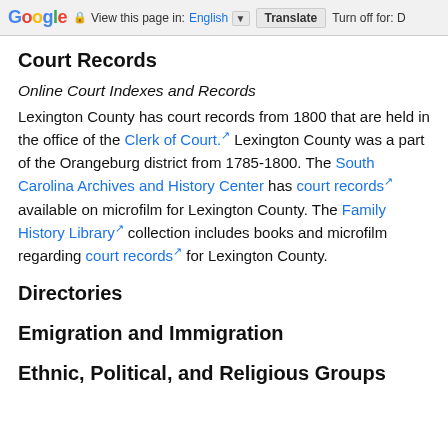Google  View this page in: English  Translate  Turn off for: D
Court Records
Online Court Indexes and Records
Lexington County has court records from 1800 that are held in the office of the Clerk of Court. Lexington County was a part of the Orangeburg district from 1785-1800. The South Carolina Archives and History Center has court records available on microfilm for Lexington County. The Family History Library collection includes books and microfilm regarding court records for Lexington County.
Directories
Emigration and Immigration
Ethnic, Political, and Religious Groups